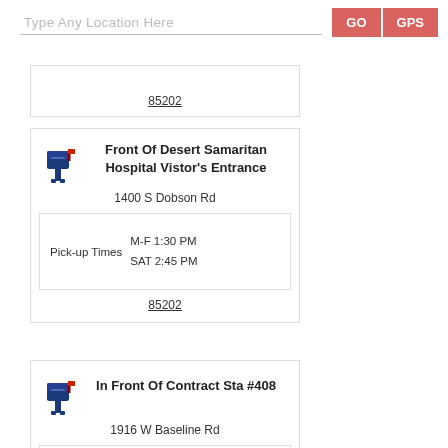[Figure (screenshot): Search input bar with placeholder 'Type Any Location Here' and two buttons: GO and GPS (both pink/red)]
85202
Front Of Desert Samaritan Hospital Vistor's Entrance
1400 S Dobson Rd
Pick-up Times  M-F 1:30 PM  SAT 2:45 PM
85202
In Front Of Contract Sta #408
1916 W Baseline Rd
M-F 1:00 PM